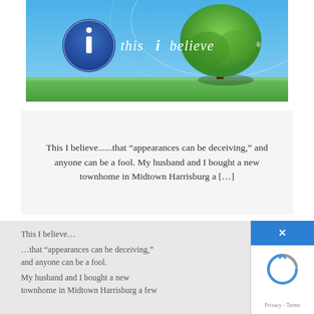[Figure (illustration): This I Believe banner/logo: blue sky background with a large green tree on the right, circular logo with 'i' in the center and text 'this i believe' on the left]
This I believe......that "appearances can be deceiving," and anyone can be a fool. My husband and I bought a new townhome in Midtown Harrisburg a [...]
This I believe...
...that "appearances can be deceiving," and anyone can be a fool.
My husband and I bought a new townhome in Midtown Harrisburg a few